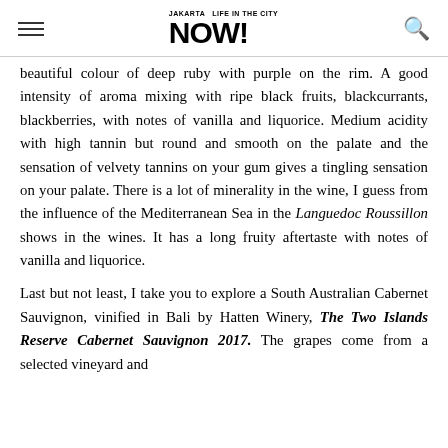NOW! (Jakarta lifestyle magazine header with hamburger menu and search icon)
beautiful colour of deep ruby with purple on the rim. A good intensity of aroma mixing with ripe black fruits, blackcurrants, blackberries, with notes of vanilla and liquorice. Medium acidity with high tannin but round and smooth on the palate and the sensation of velvety tannins on your gum gives a tingling sensation on your palate. There is a lot of minerality in the wine, I guess from the influence of the Mediterranean Sea in the Languedoc Roussillon shows in the wines. It has a long fruity aftertaste with notes of vanilla and liquorice.
Last but not least, I take you to explore a South Australian Cabernet Sauvignon, vinified in Bali by Hatten Winery, The Two Islands Reserve Cabernet Sauvignon 2017. The grapes come from a selected vineyard and